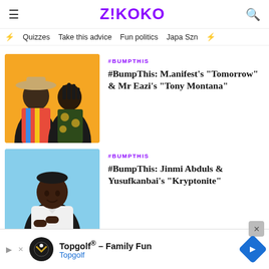Z!KOKO
Quizzes   Take this advice   Fun politics   Japa Szn
#BUMPTHIS
#BumpThis: M.anifest's “Tomorrow” & Mr Eazi’s “Tony Montana”
[Figure (photo): Two men posing together against orange/yellow background, one wearing a wide-brim hat]
#BUMPTHIS
#BumpThis: Jinmi Abduls & Yusufkanbai’s “Kryptonite”
[Figure (photo): Young man in white shirt against light blue background]
Topgolf® – Family Fun
Topgolf